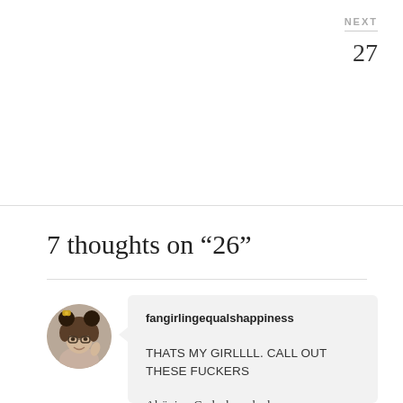NEXT
27
7 thoughts on “26”
[Figure (photo): Circular avatar photo of a young woman wearing Mickey Mouse ears and glasses]
fangirlingequalshappiness

THATS MY GIRLLLL. CALL OUT THESE FUCKERS

Alaïs is a Gods damn badass